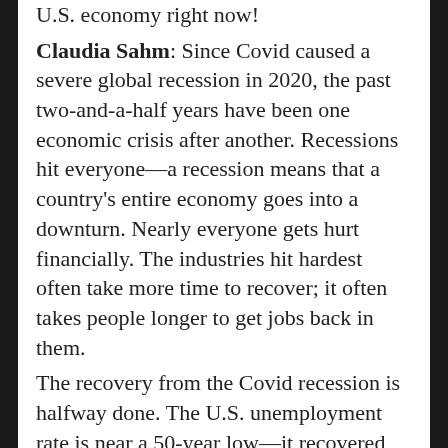U.S. economy right now! Claudia Sahm: Since Covid caused a severe global recession in 2020, the past two-and-a-half years have been one economic crisis after another. Recessions hit everyone—a recession means that a country's entire economy goes into a downturn. Nearly everyone gets hurt financially. The industries hit hardest often take more time to recover; it often takes people longer to get jobs back in them. The recovery from the Covid recession is halfway done. The U.S. unemployment rate is near a 50-year low—it recovered very quickly. After previous recessions, we've had what are called jobless recoveries, where it took a long time to